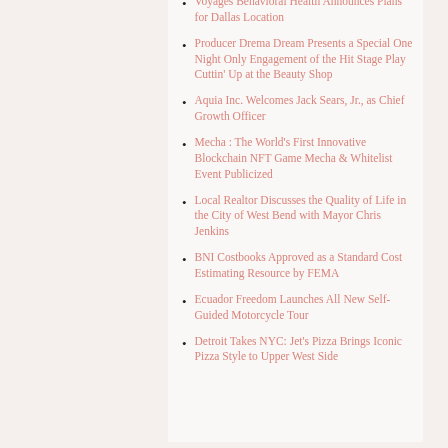Voyages Behavioral Health Announces Plans for Dallas Location
Producer Drema Dream Presents a Special One Night Only Engagement of the Hit Stage Play Cuttin' Up at the Beauty Shop
Aquia Inc. Welcomes Jack Sears, Jr., as Chief Growth Officer
Mecha : The World's First Innovative Blockchain NFT Game Mecha & Whitelist Event Publicized
Local Realtor Discusses the Quality of Life in the City of West Bend with Mayor Chris Jenkins
BNI Costbooks Approved as a Standard Cost Estimating Resource by FEMA
Ecuador Freedom Launches All New Self-Guided Motorcycle Tour
Detroit Takes NYC: Jet's Pizza Brings Iconic Pizza Style to Upper West Side